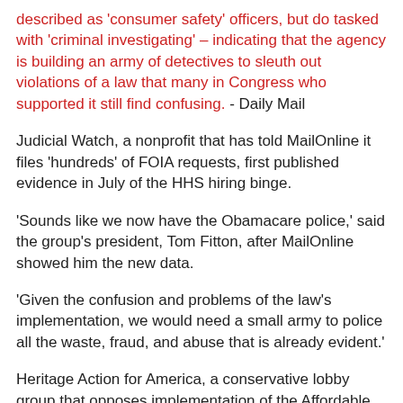described as 'consumer safety' officers, but do tasked with 'criminal investigating' – indicating that the agency is building an army of detectives to sleuth out violations of a law that many in Congress who supported it still find confusing. - Daily Mail
Judicial Watch, a nonprofit that has told MailOnline it files 'hundreds' of FOIA requests, first published evidence in July of the HHS hiring binge.
'Sounds like we now have the Obamacare police,' said the group's president, Tom Fitton, after MailOnline showed him the new data.
'Given the confusion and problems of the law's implementation, we would need a small army to police all the waste, fraud, and abuse that is already evident.'
Heritage Action for America, a conservative lobby group that opposes implementation of the Affordable Care Act, told MailOnline that it sees the hiring of criminal investigators inside HHS as a sign that its position is more and more defensible...